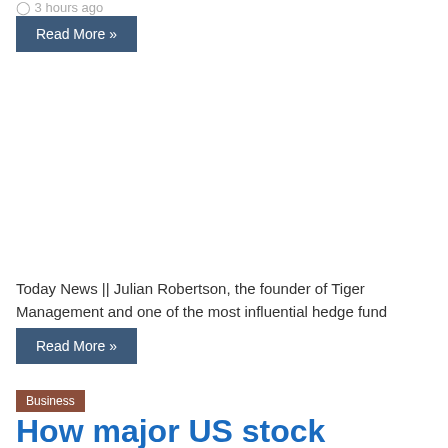3 hours ago
Read More »
Today News || Julian Robertson, the founder of Tiger Management and one of the most influential hedge fund managers of…
Read More »
Business
How major US stock indexes